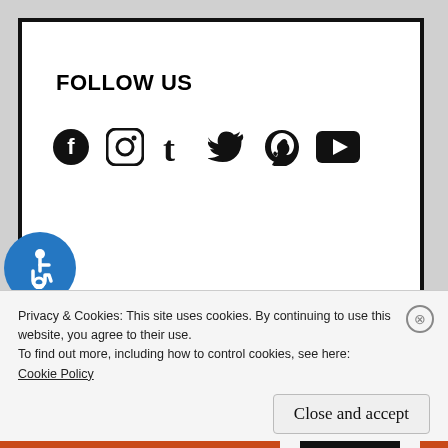FOLLOW US
[Figure (infographic): Social media icons: Facebook, Instagram, Tumblr, Twitter, Pinterest, YouTube]
[Figure (infographic): Accessibility (wheelchair) button icon in blue circle]
BLOG STATS
21,741 hits
Privacy & Cookies: This site uses cookies. By continuing to use this website, you agree to their use.
To find out more, including how to control cookies, see here:
Cookie Policy
Close and accept